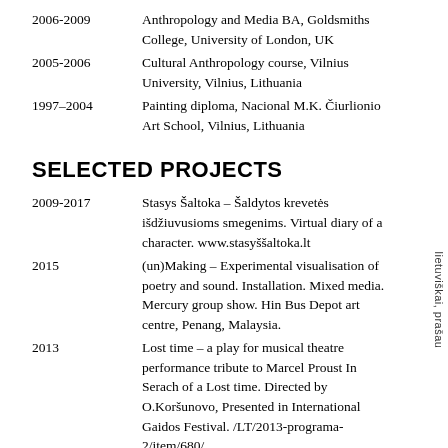2006-2009   Anthropology and Media BA, Goldsmiths College, University of London, UK
2005-2006   Cultural Anthropology course, Vilnius University, Vilnius, Lithuania
1997–2004   Painting diploma, Nacional M.K. Čiurlionio Art School, Vilnius, Lithuania
SELECTED PROJECTS
2009-2017   Stasys Šaltoka – Šaldytos krevetės išdžiuvusioms smegenims. Virtual diary of a character. www.stasyššaltoka.lt
2015   (un)Making – Experimental visualisation of poetry and sound. Installation. Mixed media. Mercury group show. Hin Bus Depot art centre, Penang, Malaysia.
2013   Lost time – a play for musical theatre performance tribute to Marcel Proust In Serach of a Lost time. Directed by O.Koršunovo, Presented in International Gaidos Festival. /LT/2013-programa-2/item/680/
2010   Neišsipildymas (Unfulfilled), a novel, Baltos Lankos. Shortlisted by Lithuanian Literature Institute as one of the most creative books in
lietuviškai, prašau